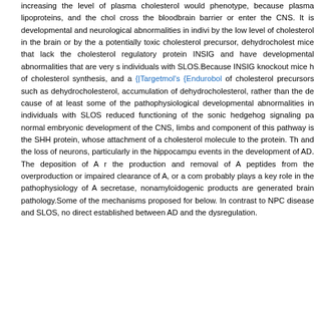increasing the level of plasma cholesterol would phenotype, because plasma lipoproteins, and the chol cross the bloodbrain barrier or enter the CNS. It is developmental and neurological abnormalities in indivi by the low level of cholesterol in the brain or by the a potentially toxic cholesterol precursor, dehydrocholest mice that lack the cholesterol regulatory protein INSIG and have developmental abnormalities that are very s individuals with SLOS.Because INSIG knockout mice h of cholesterol synthesis, and a {|Targetmol's {Endurobol of cholesterol precursors such as dehydrocholesterol, accumulation of dehydrocholesterol, rather than the de cause of at least some of the pathophysiological developmental abnormalities in individuals with SLOS reduced functioning of the sonic hedgehog signaling pa normal embryonic development of the CNS, limbs and component of this pathway is the SHH protein, whose attachment of a cholesterol molecule to the protein. Th and the loss of neurons, particularly in the hippocampu events in the development of AD. The deposition of A r the production and removal of A peptides from the overproduction or impaired clearance of A, or a com probably plays a key role in the pathophysiology of A secretase, nonamyloidogenic products are generated brain pathology.Some of the mechanisms proposed for below. In contrast to NPC disease and SLOS, no direct established between AD and the dysregulation.